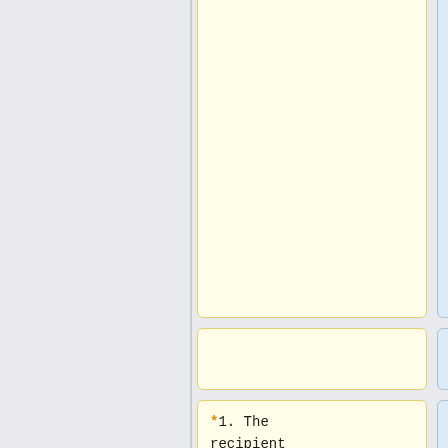far as necessary to manage your access to the service(s);
*1. The recipient has agreed to abide by The Policy
but only where:
:1. The recipient has agreed to abide by The Policy;